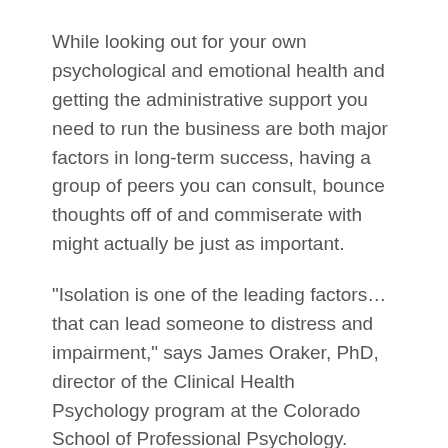While looking out for your own psychological and emotional health and getting the administrative support you need to run the business are both major factors in long-term success, having a group of peers you can consult, bounce thoughts off of and commiserate with might actually be just as important.
"Isolation is one of the leading factors...that can lead someone to distress and impairment," says James Oraker, PhD, director of the Clinical Health Psychology program at the Colorado School of Professional Psychology. "Peer consultation groups keep you from isolation, and help you to stay present with colleagues."
In addition, these support groups offer a forum for young ABA therapists to discuss things like: